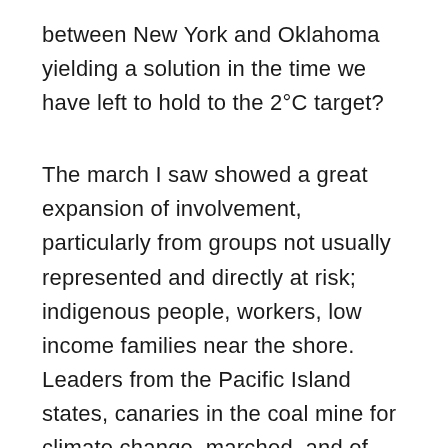between New York and Oklahoma yielding a solution in the time we have left to hold to the 2°C target?
The march I saw showed a great expansion of involvement, particularly from groups not usually represented and directly at risk; indigenous people, workers, low income families near the shore. Leaders from the Pacific Island states, canaries in the coal mine for climate change, marched, and of course, Ban Ki-moon.